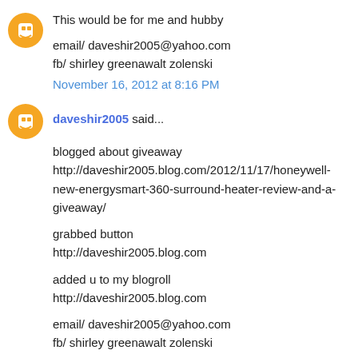This would be for me and hubby
email/ daveshir2005@yahoo.com
fb/ shirley greenawalt zolenski
November 16, 2012 at 8:16 PM
daveshir2005 said...
blogged about giveaway http://daveshir2005.blog.com/2012/11/17/honeywell-new-energysmart-360-surround-heater-review-and-a-giveaway/

grabbed button
http://daveshir2005.blog.com

added u to my blogroll
http://daveshir2005.blog.com

email/ daveshir2005@yahoo.com
fb/ shirley greenawalt zolenski